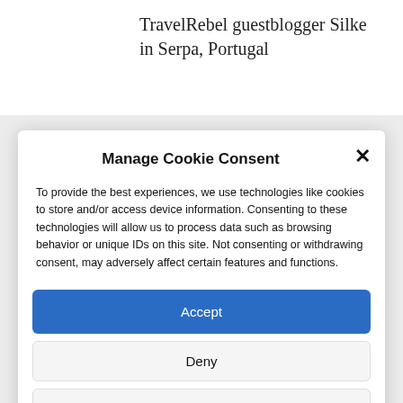TravelRebel guestblogger Silke in Serpa, Portugal
Manage Cookie Consent
To provide the best experiences, we use technologies like cookies to store and/or access device information. Consenting to these technologies will allow us to process data such as browsing behavior or unique IDs on this site. Not consenting or withdrawing consent, may adversely affect certain features and functions.
Accept
Deny
View preferences
Privacy Policy